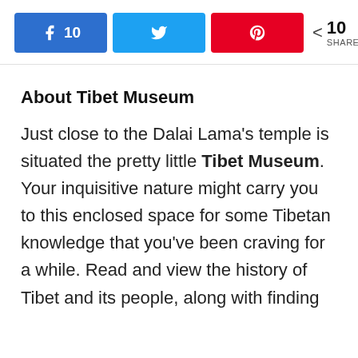[Figure (screenshot): Social share buttons row: Facebook button with count 10, Twitter button, Pinterest button, and share count showing 10 SHARES]
About Tibet Museum
Just close to the Dalai Lama's temple is situated the pretty little Tibet Museum. Your inquisitive nature might carry you to this enclosed space for some Tibetan knowledge that you've been craving for a while. Read and view the history of Tibet and its people, along with finding